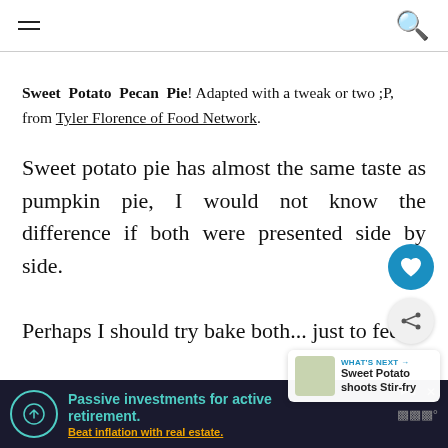Sweet Potato Pecan Pie! Adapted with a tweak or two ;P, from Tyler Florence of Food Network.
Sweet potato pie has almost the same taste as pumpkin pie, I would not know the difference if both were presented side by side.
Perhaps I should try bake both... just to feed on... in it. P...